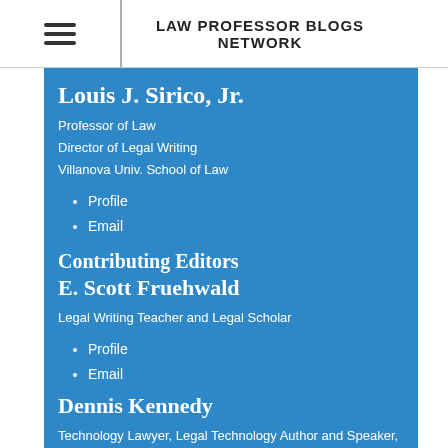LAW PROFESSOR BLOGS NETWORK
Louis J. Sirico, Jr.
Professor of Law
Director of Legal Writing
Villanova Univ. School of Law
Profile
Email
Contributing Editors
E. Scott Fruehwald
Legal Writing Teacher and Legal Scholar
Profile
Email
Dennis Kennedy
Technology Lawyer, Legal Technology Author and Speaker, Blogger and Podcaster
Profile